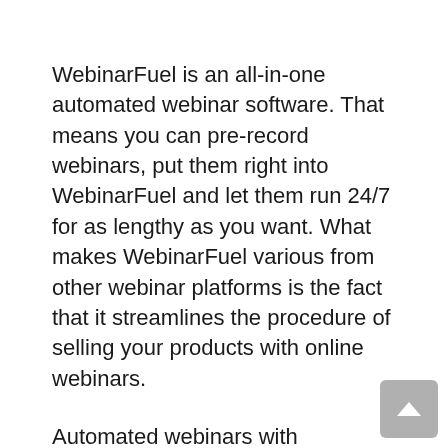WebinarFuel is an all-in-one automated webinar software. That means you can pre-record webinars, put them right into WebinarFuel and let them run 24/7 for as lengthy as you want. What makes WebinarFuel various from other webinar platforms is the fact that it streamlines the procedure of selling your products with online webinars.
Automated webinars with WebinarFuel deliver a better user experience and your site visitors will genuinely get the {real-time|live feeling when seeing your webinars.